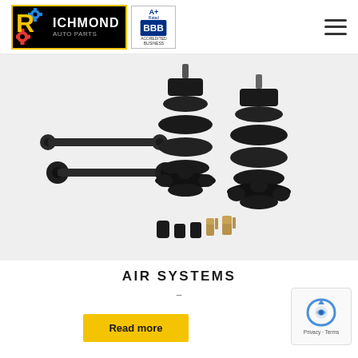[Figure (logo): Richmond auto parts logo on black background with yellow border, with BBB A+ Accredited Business badge]
[Figure (photo): Air suspension system components: two black air bags/bellows, two control arms/linkages with bushings, and small hardware fittings including push-to-connect air fittings and sleeves, all on white background]
AIR SYSTEMS
–
[Figure (other): Yellow 'Read more' button]
[Figure (other): reCAPTCHA badge with Privacy and Terms links]